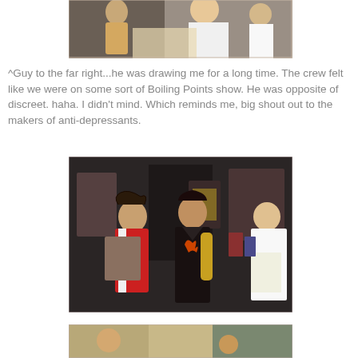[Figure (photo): Photo of people at what appears to be a convention or event, showing someone drawing or sketching, with a man in white shirt on the right side.]
^Guy to the far right...he was drawing me for a long time. The crew felt like we were on some sort of Boiling Points show. He was opposite of discreet. haha. I didn't mind. Which reminds me, big shout out to the makers of anti-depressants.
[Figure (photo): Photo taken at what appears to be a convention booth. Two women in costume or promotional outfits (one in red and white, one in black with gold accents) are standing near merchandise displays. A man in a white shirt on the right holds papers.]
[Figure (photo): Partial photo visible at the bottom of the page showing part of a convention floor or similar event space.]